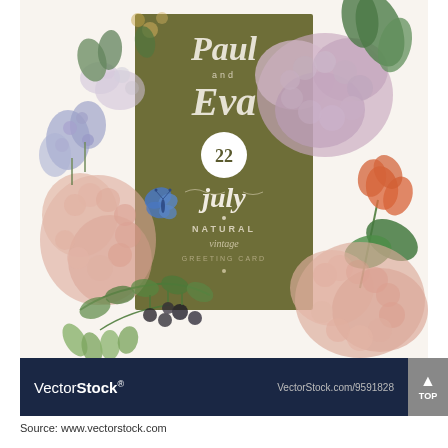[Figure (illustration): Watercolor floral wedding greeting card illustration. Features hydrangea flowers in pink/mauve and peach tones, blue wildflowers, green foliage, berries, a red flower, and a blue butterfly. Central olive/dark-green rectangular panel with white script text reading 'Paul and Eva 22 july NATURAL vintage GREETING CARD'. Decorative botanical border surrounds the panel.]
VectorStock®   VectorStock.com/9591828
Source: www.vectorstock.com